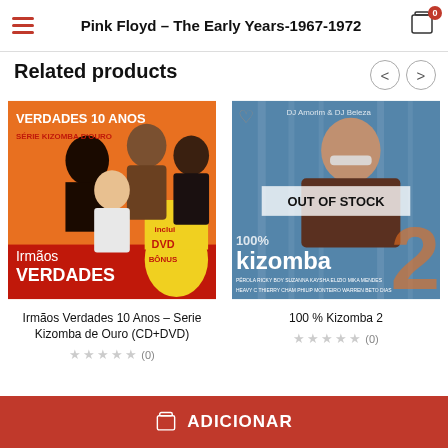Pink Floyd – The Early Years-1967-1972
Related products
[Figure (photo): Album cover: Irmãos Verdades 10 Anos – Serie Kizomba de Ouro (CD+DVD). Four men on orange background with text 'Verdades 10 Anos Série Kizomba D'Ouro', 'Irmãos Verdades', 'inclui DVD Bônus']
Irmãos Verdades 10 Anos – Serie Kizomba de Ouro (CD+DVD)
★★★★★ (0)
[Figure (photo): Album cover: 100% Kizomba 2 by DJ Amorim & DJ Beleza. Woman with sunglasses on blue background with 'OUT OF STOCK' overlay. Various artist names listed at bottom.]
100 % Kizomba 2
★★★★★ (0)
ADICIONAR